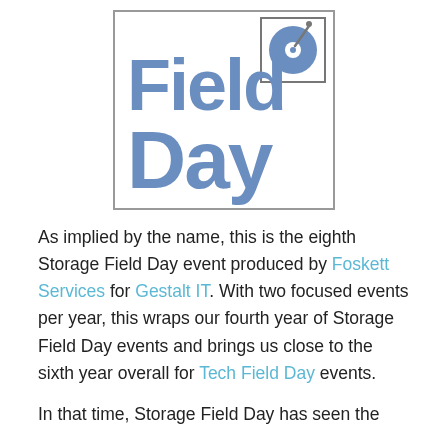[Figure (logo): Field Day logo: large bold blue text 'Field' on top line and 'Day' on bottom line, with a vinyl record icon in a small box in the upper right corner, all enclosed in a square border.]
As implied by the name, this is the eighth Storage Field Day event produced by Foskett Services for Gestalt IT. With two focused events per year, this wraps our fourth year of Storage Field Day events and brings us close to the sixth year overall for Tech Field Day events.
In that time, Storage Field Day has seen the